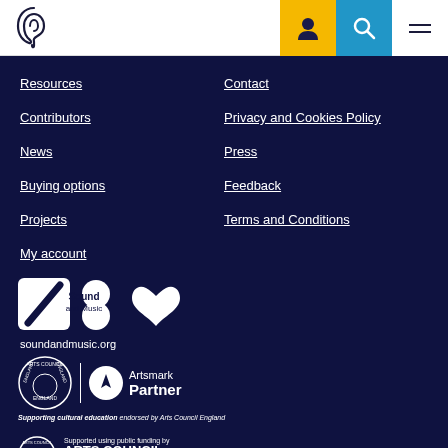[Figure (logo): Ear icon logo (hearing/audio) in top left of header]
[Figure (logo): User icon on yellow background, search icon on blue background, hamburger menu icon]
Resources
Contributors
News
Buying options
Projects
My account
Contact
Privacy and Cookies Policy
Press
Feedback
Terms and Conditions
[Figure (logo): Sound and Music logo with geometric shapes and text 'Sound and Music' and 'soundandmusic.org']
[Figure (logo): Arts Council England Artsmark Partner logo with text 'Supporting cultural education endorsed by Arts Council England']
[Figure (logo): Arts Council England logo with text 'Supported using public funding by ARTS COUNCIL ENGLAND']